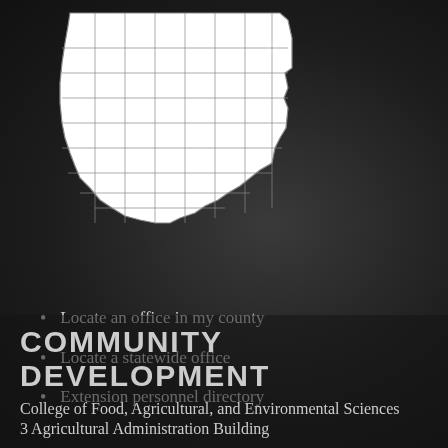[Figure (map): Outline map of Ohio showing county boundaries, white fill on dark background]
Locate an office in my county
Locate a statewide office
Extension personnel directory
COMMUNITY DEVELOPMENT
College of Food, Agricultural, and Environmental Sciences
3 Agricultural Administration Building